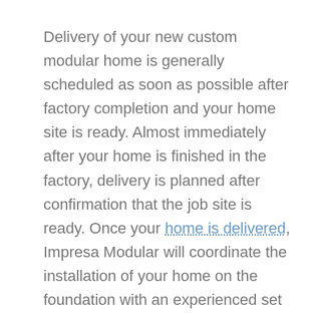Delivery of your new custom modular home is generally scheduled as soon as possible after factory completion and your home site is ready. Almost immediately after your home is finished in the factory, delivery is planned after confirmation that the job site is ready. Once your home is delivered, Impresa Modular will coordinate the installation of your home on the foundation with an experienced set and crane crew. It all takes place very quickly at this point in the process. At this stage, the site and basement utilities get finished, the heating system is installed (if not factory completed) and the concrete and yard